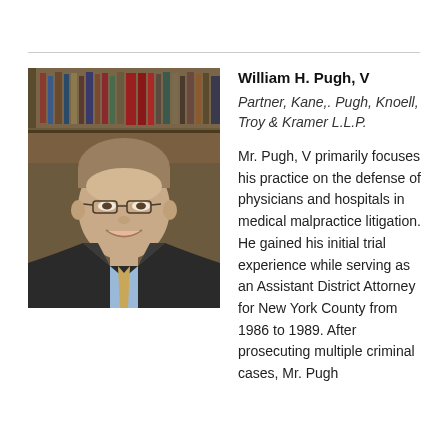[Figure (photo): Professional headshot of William H. Pugh V, a middle-aged man in a dark suit with a light blue shirt and gold/tan tie, wearing glasses, smiling, with bookshelves in the background.]
William H. Pugh, V
Partner, Kane,. Pugh, Knoell, Troy & Kramer L.L.P.
Mr. Pugh, V primarily focuses his practice on the defense of physicians and hospitals in medical malpractice litigation. He gained his initial trial experience while serving as an Assistant District Attorney for New York County from 1986 to 1989. After prosecuting multiple criminal cases, Mr. Pugh